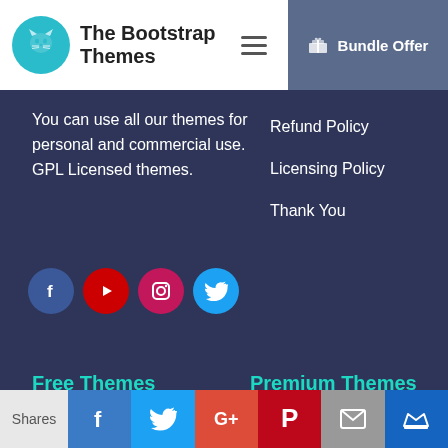The Bootstrap Themes | Bundle Offer
You can use all our themes for personal and commercial use. GPL Licensed themes.
Refund Policy
Licensing Policy
Thank You
[Figure (infographic): Social media icons: Facebook, YouTube, Instagram, Twitter]
Free Themes
Premium Themes
Travel Tour
Bootstrap Blog
Chic Lifestyle
Travel Tour Pro
Bootstrap Blog Pro
Bootstrap Photography Pro
Shares | Facebook | Twitter | Google+ | Pinterest | Email | Crown